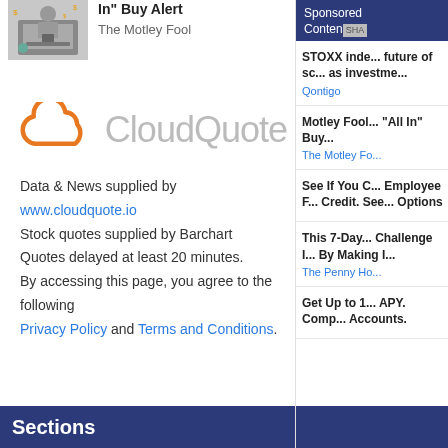[Figure (photo): Person in suit celebrating at laptop with money flying]
In" Buy Alert
The Motley Fool
[Figure (logo): CloudQuote logo with orange cloud icon and grey CloudQuote text]
Data & News supplied by www.cloudquote.io
Stock quotes supplied by Barchart
Quotes delayed at least 20 minutes.
By accessing this page, you agree to the following Privacy Policy and Terms and Conditions.
Sections
Sponsored Content SHA
STOXX inde... future of sc... as investme... Qontigo
Motley Fool... "All In" Buy... The Motley Fo...
See If You C... Employee F... Credit. See... Options
This 7-Day... Challenge I... By Making I... The Penny Ho...
Get Up to 1... APY. Comp... Accounts.